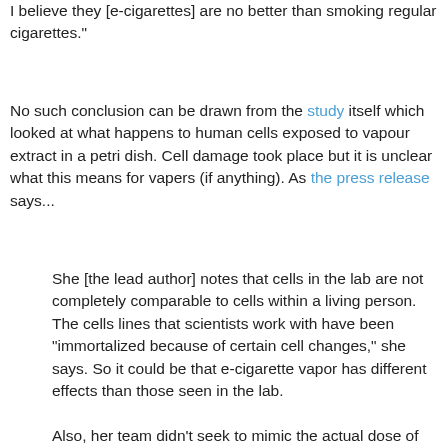I believe they [e-cigarettes] are no better than smoking regular cigarettes."
No such conclusion can be drawn from the study itself which looked at what happens to human cells exposed to vapour extract in a petri dish. Cell damage took place but it is unclear what this means for vapers (if anything). As the press release says...
She [the lead author] notes that cells in the lab are not completely comparable to cells within a living person. The cells lines that scientists work with have been "immortalized because of certain cell changes," she says. So it could be that e-cigarette vapor has different effects than those seen in the lab.
Also, her team didn't seek to mimic the actual dose of vapor that an e-cigarette user would get.